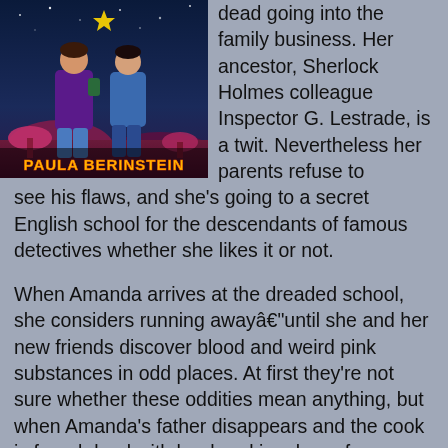[Figure (illustration): Book cover illustration showing two figures from behind (one in purple jacket, one in jeans) with colorful alien-like background and text 'PAULA BERINSTEIN' in orange/yellow letters at the bottom]
dead going into the family business. Her ancestor, Sherlock Holmes colleague Inspector G. Lestrade, is a twit. Nevertheless her parents refuse to see his flaws, and she's going to a secret English school for the descendants of famous detectives whether she likes it or not.
When Amanda arrives at the dreaded school, she considers running awayâ€"until she and her new friends discover blood and weird pink substances in odd places. At first they're not sure whether these oddities mean anything, but when Amanda's father disappears and the cook is found dead with her head in a bag of sugar, they're certain that crimes are taking place.
Now Amanda must embrace her destiny and uncover the truth. The only snag is that arch-